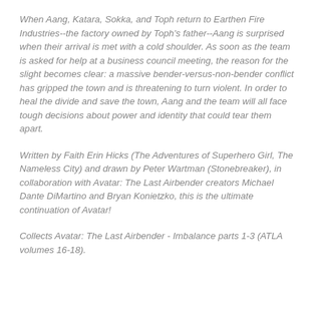When Aang, Katara, Sokka, and Toph return to Earthen Fire Industries--the factory owned by Toph's father--Aang is surprised when their arrival is met with a cold shoulder. As soon as the team is asked for help at a business council meeting, the reason for the slight becomes clear: a massive bender-versus-non-bender conflict has gripped the town and is threatening to turn violent. In order to heal the divide and save the town, Aang and the team will all face tough decisions about power and identity that could tear them apart.
Written by Faith Erin Hicks (The Adventures of Superhero Girl, The Nameless City) and drawn by Peter Wartman (Stonebreaker), in collaboration with Avatar: The Last Airbender creators Michael Dante DiMartino and Bryan Konietzko, this is the ultimate continuation of Avatar!
Collects Avatar: The Last Airbender - Imbalance parts 1-3 (ATLA volumes 16-18).